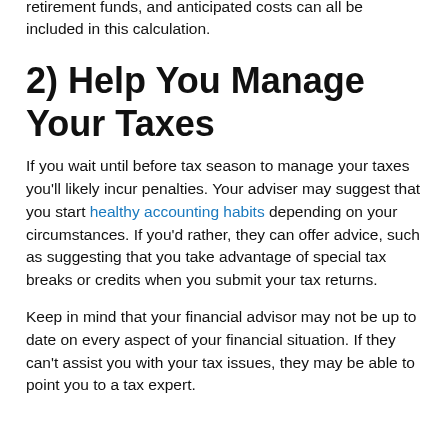retirement funds, and anticipated costs can all be included in this calculation.
2) Help You Manage Your Taxes
If you wait until before tax season to manage your taxes you'll likely incur penalties. Your adviser may suggest that you start healthy accounting habits depending on your circumstances. If you'd rather, they can offer advice, such as suggesting that you take advantage of special tax breaks or credits when you submit your tax returns.
Keep in mind that your financial advisor may not be up to date on every aspect of your financial situation. If they can't assist you with your tax issues, they may be able to point you to a tax expert.